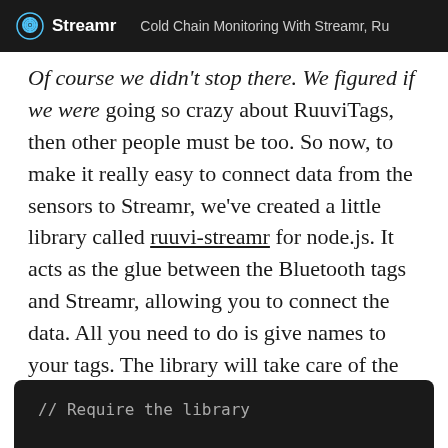Streamr — Cold Chain Monitoring With Streamr, Ru...
Of course we didn't stop there. We figured if we were going so crazy about RuuviTags, then other people must be too. So now, to make it really easy to connect data from the sensors to Streamr, we've created a little library called ruuvi-streamr for node.js. It acts as the glue between the Bluetooth tags and Streamr, allowing you to connect the data. All you need to do is give names to your tags. The library will take care of the rest, including creating the streams and producing data to them. This snippet powers the above demo streams using the library:
// Require the library